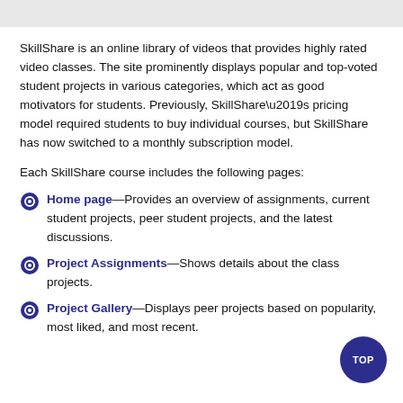SkillShare is an online library of videos that provides highly rated video classes. The site prominently displays popular and top-voted student projects in various categories, which act as good motivators for students. Previously, SkillShare’s pricing model required students to buy individual courses, but SkillShare has now switched to a monthly subscription model.
Each SkillShare course includes the following pages:
Home page—Provides an overview of assignments, current student projects, peer student projects, and the latest discussions.
Project Assignments—Shows details about the class projects.
Project Gallery—Displays peer projects based on popularity, most liked, and most recent.